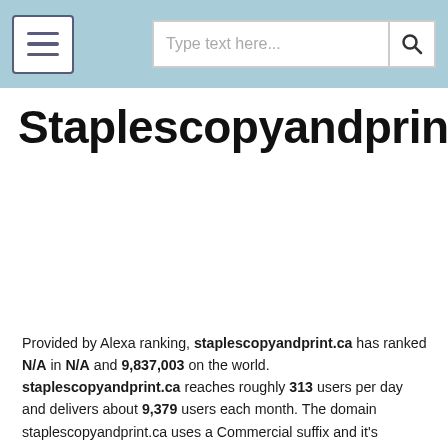Type text here...
Staplescopyandprint.ca
Provided by Alexa ranking, staplescopyandprint.ca has ranked N/A in N/A and 9,837,003 on the world. staplescopyandprint.ca reaches roughly 313 users per day and delivers about 9,379 users each month. The domain staplescopyandprint.ca uses a Commercial suffix and it's server(s) are located in N/A with the IP number 52.139.2.254 and it is a .ca domain.